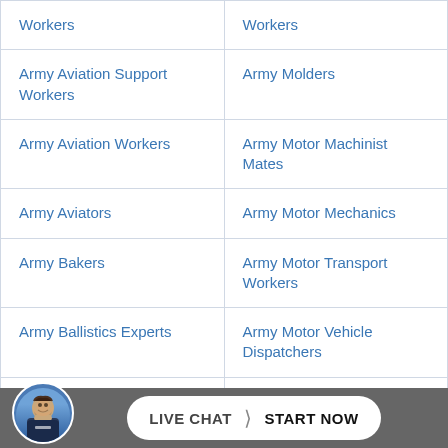| Workers | Workers |
| Army Aviation Support Workers | Army Molders |
| Army Aviation Workers | Army Motor Machinist Mates |
| Army Aviators | Army Motor Mechanics |
| Army Bakers | Army Motor Transport Workers |
| Army Ballistics Experts | Army Motor Vehicle Dispatchers |
| Army Base Builders | Army Motorcycle Mechanics |
| Army Co… | …s |
[Figure (other): Live chat widget with avatar photo of a man in a suit, and a 'LIVE CHAT > START NOW' button on a dark grey bar at the bottom of the page.]